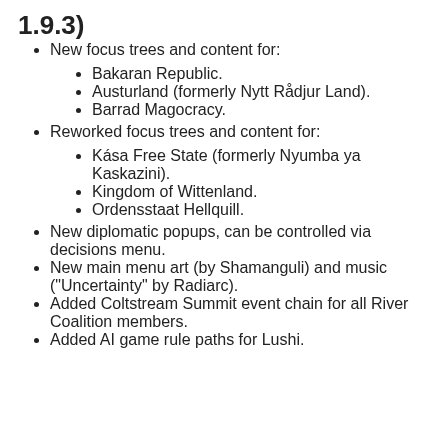1.9.3)
New focus trees and content for:
Bakaran Republic.
Austurland (formerly Nytt Rådjur Land).
Barrad Magocracy.
Reworked focus trees and content for:
Kása Free State (formerly Nyumba ya Kaskazini).
Kingdom of Wittenland.
Ordensstaat Hellquill.
New diplomatic popups, can be controlled via decisions menu.
New main menu art (by Shamanguli) and music ("Uncertainty" by Radiarc).
Added Coltstream Summit event chain for all River Coalition members.
Added AI game rule paths for Lushi.